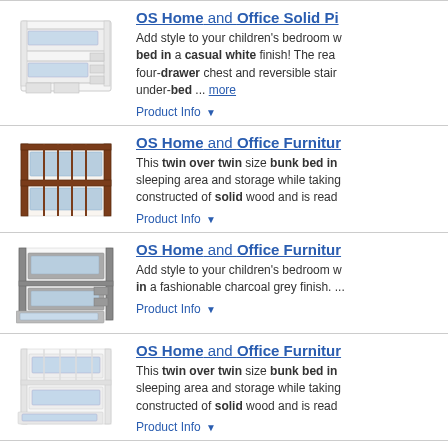[Figure (photo): White bunk bed with staircase and drawers]
OS Home and Office Solid Pi...
Add style to your children's bedroom w... bed in a casual white finish! The rea... four-drawer chest and reversible stair... under-bed ... more
Product Info ▼
[Figure (photo): Dark wood twin over twin bunk bed]
OS Home and Office Furnitur...
This twin over twin size bunk bed in... sleeping area and storage while taking... constructed of solid wood and is read...
Product Info ▼
[Figure (photo): Grey bunk bed with pull-out trundle]
OS Home and Office Furnitur...
Add style to your children's bedroom w... in a fashionable charcoal grey finish. ...
Product Info ▼
[Figure (photo): White twin over twin bunk bed with trundle]
OS Home and Office Furnitur...
This twin over twin size bunk bed in... sleeping area and storage while taking... constructed of solid wood and is read...
Product Info ▼
[Figure (photo): Dark bedroom bunk bed]
OS Home and Office Furnitur...
This ready-to-assemble unit in a rich m...